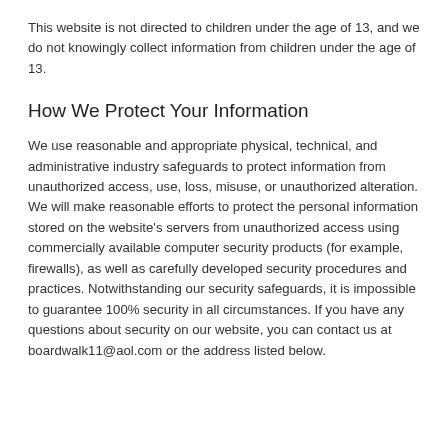This website is not directed to children under the age of 13, and we do not knowingly collect information from children under the age of 13.
How We Protect Your Information
We use reasonable and appropriate physical, technical, and administrative industry safeguards to protect information from unauthorized access, use, loss, misuse, or unauthorized alteration. We will make reasonable efforts to protect the personal information stored on the website's servers from unauthorized access using commercially available computer security products (for example, firewalls), as well as carefully developed security procedures and practices. Notwithstanding our security safeguards, it is impossible to guarantee 100% security in all circumstances. If you have any questions about security on our website, you can contact us at boardwalk11@aol.com or the address listed below.